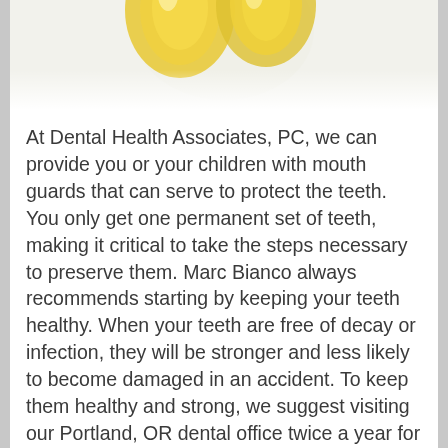[Figure (photo): Partial view of yellow mouth guards/dental guards on a white background, cropped at top of page]
At Dental Health Associates, PC, we can provide you or your children with mouth guards that can serve to protect the teeth. You only get one permanent set of teeth, making it critical to take the steps necessary to preserve them. Marc Bianco always recommends starting by keeping your teeth healthy. When your teeth are free of decay or infection, they will be stronger and less likely to become damaged in an accident. To keep them healthy and strong, we suggest visiting our Portland, OR dental office twice a year for a routine teeth cleaning. You can schedule an appointment by calling (503) 862-3270.